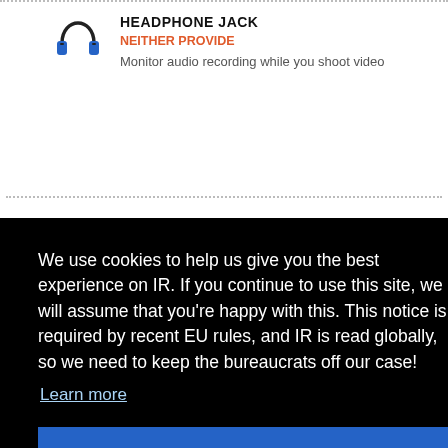HEADPHONE JACK
NEITHER PROVIDE
Monitor audio recording while you shoot video
We use cookies to help us give you the best experience on IR. If you continue to use this site, we will assume that you're happy with this. This notice is required by recent EU rules, and IR is read globally, so we need to keep the bureaucrats off our case!
Learn more
Got it!
Search on Amazon